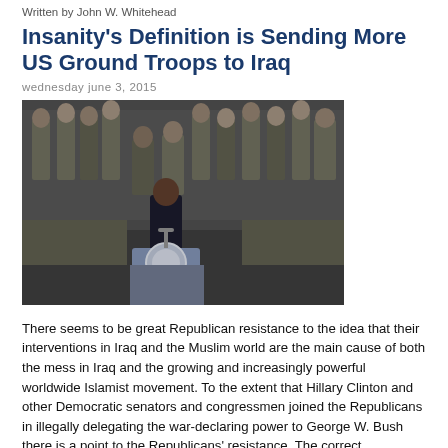Written by John W. Whitehead
Insanity's Definition is Sending More US Ground Troops to Iraq
wednesday june 3, 2015
[Figure (photo): A speaker at a podium with the presidential seal, surrounded by military personnel in camouflage uniforms]
There seems to be great Republican resistance to the idea that their interventions in Iraq and the Muslim world are the main cause of both the mess in Iraq and the growing and increasingly powerful worldwide Islamist movement. To the extent that Hillary Clinton and other Democratic senators and congressmen joined the Republicans in illegally delegating the war-declaring power to George W. Bush there is a point to the Republicans' resistance. The correct formulation of the statement is that both parties are equally responsible for the mess in Iraq and for the formidable Islamist foe that now exists. Also a correct statement is that the bulk of both parties now want the United States to become an even stronger motivator of and recruiter for the Islamists by expanding the military re-intervention in Iraq that began in the summer of 2014. Before